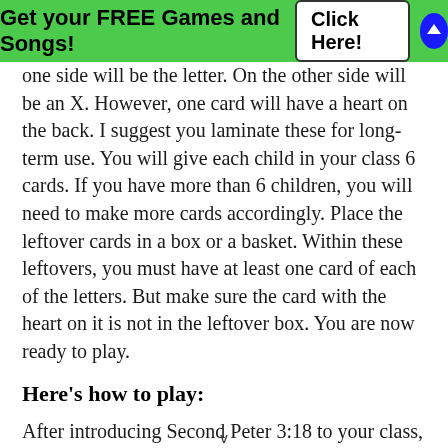Get your FREE Games and Songs! Click Here!
one side will be the letter.  On the other side will be an X.  However, one card will have a heart on the back.  I suggest you laminate these for long-term use.  You will give each child in your class 6 cards.  If you have more than 6 children, you will need to make more cards accordingly.  Place the leftover cards in a box or a basket.  Within these leftovers, you must have at least one card of each of the letters.  But make sure the card with the heart on it is not in the leftover box.  You are now ready to play.
Here’s how to play:
After introducing Second Peter 3:18 to your class, pass out 6 cards to each child, X-side down.  Have them place their cards in a straight line.  You then take a card will b
v